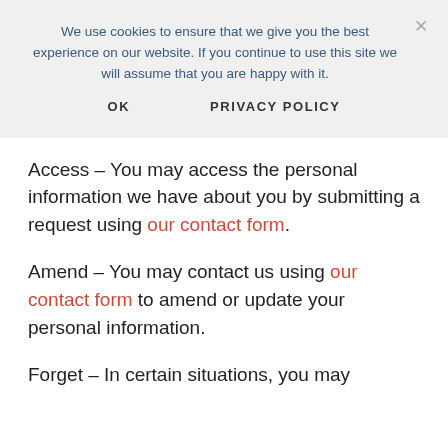We use cookies to ensure that we give you the best experience on our website. If you continue to use this site we will assume that you are happy with it.
OK    PRIVACY POLICY
Access – You may access the personal information we have about you by submitting a request using our contact form.
Amend – You may contact us using our contact form to amend or update your personal information.
Forget – In certain situations, you may